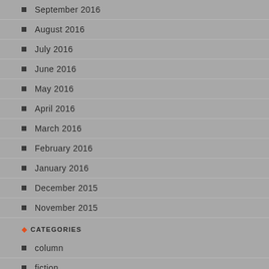September 2016
August 2016
July 2016
June 2016
May 2016
April 2016
March 2016
February 2016
January 2016
December 2015
November 2015
CATEGORIES
column
fiction